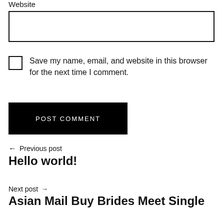Website
[input box]
Save my name, email, and website in this browser for the next time I comment.
POST COMMENT
← Previous post
Hello world!
Next post →
Asian Mail Buy Brides Meet Single